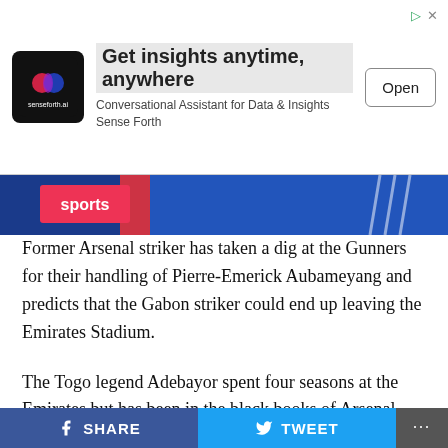[Figure (screenshot): Advertisement banner: Senseforth.ai logo with text 'Get insights anytime, anywhere — Conversational Assistant for Data & Insights Sense Forth' and an Open button]
[Figure (photo): Partial photo strip showing Sky Sports branding and blue football jerseys including Adidas logo]
Former Arsenal striker has taken a dig at the Gunners for their handling of Pierre-Emerick Aubameyang and predicts that the Gabon striker could end up leaving the Emirates Stadium.
The Togo legend Adebayor spent four seasons at the Emirates but has been in the black books of Arsenal fans since his subsequent spells with Manchester City and north London rivals Tottenham.
Adebayor sympathises with Aubameyang who has missed
SHARE   TWEET   ...